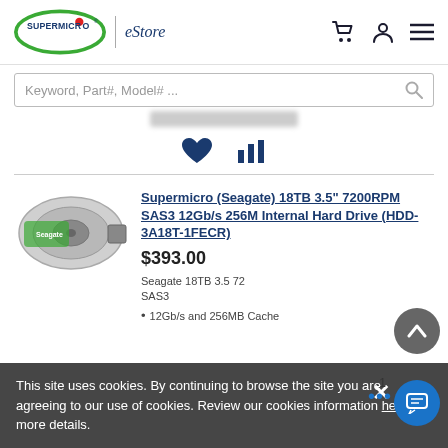Supermicro | eStore
Keyword, Part#, Model# ...
[Figure (screenshot): Blurred/redacted price bar placeholder]
[Figure (illustration): Heart (wishlist) and bar chart (compare) action icons]
[Figure (photo): Seagate 18TB 3.5 inch hard drive disk image]
Supermicro (Seagate) 18TB 3.5" 7200RPM SAS3 12Gb/s 256M Internal Hard Drive (HDD-3A18T-1FECR)
$393.00
Seagate 18TB 3.5 72 SAS3
12Gb/s and 256MB Cache
This site uses cookies. By continuing to browse the site you are agreeing to our use of cookies. Review our cookies information here for more details.